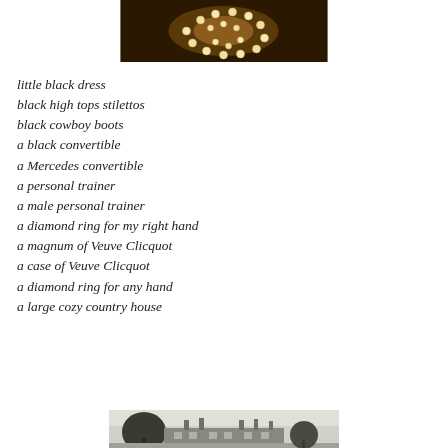[Figure (photo): Photo of pearl/bead necklace arranged in circular pattern on dark background with warm golden light]
little black dress
black high tops stilettos
black cowboy boots
a black convertible
a Mercedes convertible
a personal trainer
a male personal trainer
a diamond ring for my right hand
a magnum of Veuve Clicquot
a case of Veuve Clicquot
a diamond ring for any hand
a large cozy country house
[Figure (photo): Black and white photograph of a large country house with trees in foreground]